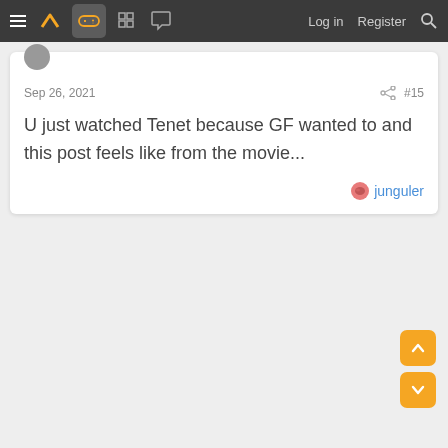≡ [logo] [gamepad] [grid] [chat] Log in Register [search]
Sep 26, 2021   #15
U just watched Tenet because GF wanted to and this post feels like from the movie...
junguler